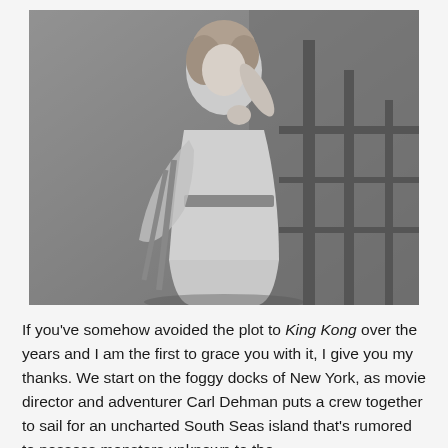[Figure (photo): Black and white still photograph of a woman in a glamorous dress with a decorative belt, posed dramatically looking upward, with her hand near her throat. She holds what appears to be a prop or crutch. A metal railing or structure is visible in the background. Classic Hollywood film style.]
If you've somehow avoided the plot to King Kong over the years and I am the first to grace you with it, I give you my thanks. We start on the foggy docks of New York, as movie director and adventurer Carl Dehman puts a crew together to sail for an uncharted South Seas island that's rumored to possess monsters unknown to the